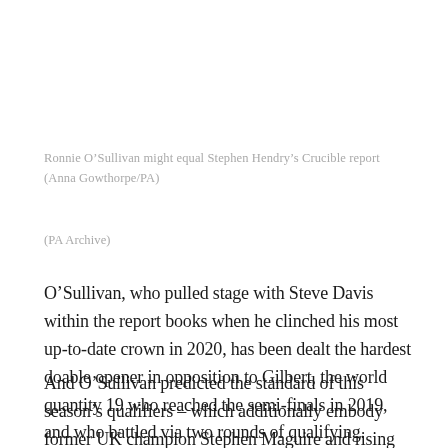Ronnie O’Sullivan might equal Stephen Hendry’s Crucible report (Anna Gowthorpe/PA)
(PA Archive)
O’Sullivan, who pulled stage with Steve Davis within the report books when he clinched his most up-to-date crown in 2020, has been dealt the hardest doable opener in opposition to Gilbert, the world quantity 19 who reached the semi-finals in 2019, and who battled via two rounds of qualifying.
And O’Sullivan predicted the standard of this season’s qualifiers – which additionally embody former UK champion Stephen Maguire and rising